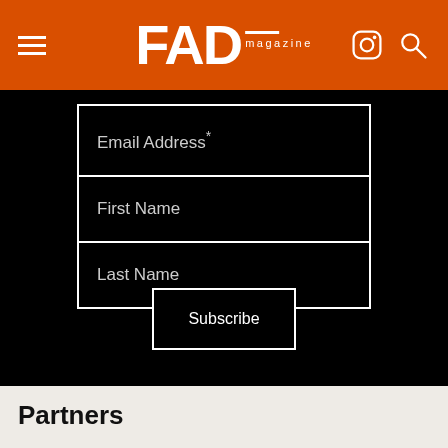FAD magazine
[Figure (screenshot): Email Address*, First Name, Last Name form fields and Subscribe button on black background]
Partners